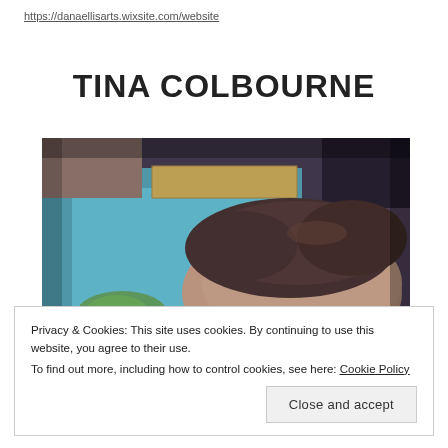https://danaellisarts.wixsite.com/website
TINA COLBOURNE
[Figure (photo): Close-up photo of the top of a person's head with dark hair pulled up, in front of a teal/blue canvas or board, with art supplies visible in the background]
Privacy & Cookies: This site uses cookies. By continuing to use this website, you agree to their use.
To find out more, including how to control cookies, see here: Cookie Policy
Close and accept